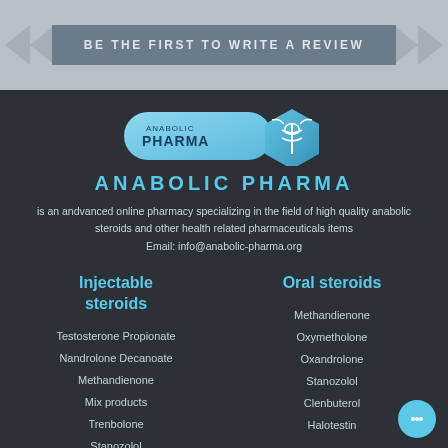BE THE FIRST TO WRITE A REVIEW
[Figure (logo): Anabolic Pharma logo with pill shape and hexagonal caduceus badge]
ANABOLIC PHARMA
is an andvanced online pharmacy specializing in the field of high quality anabolic steroids and other health related pharmaceuticals items
Email: info@anabolic-pharma.org
Injectable steroids
Oral steroids
Testosterone Propionate
Nandrolone Decanoate
Methandienone
Mix products
Trenbolone
Stanozolol
Methandienone
Oxymetholone
Oxandrolone
Stanozolol
Clenbuterol
Halotestin
Steroid cycles